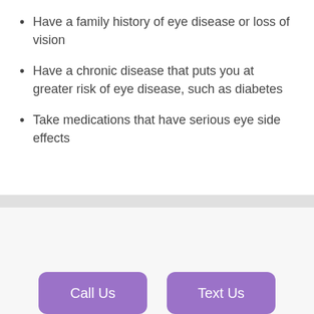Have a family history of eye disease or loss of vision
Have a chronic disease that puts you at greater risk of eye disease, such as diabetes
Take medications that have serious eye side effects